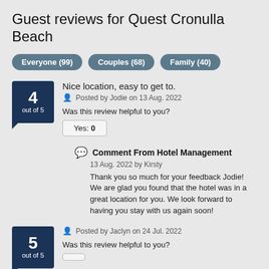Guest reviews for Quest Cronulla Beach
Everyone (99)
Couples (68)
Family (40)
4 out of 5
Nice location, easy to get to.
Posted by Jodie on 13 Aug. 2022
Was this review helpful to you?
Yes: 0
Comment From Hotel Management
13 Aug. 2022 by Kirsty
Thank you so much for your feedback Jodie! We are glad you found that the hotel was in a great location for you. We look forward to having you stay with us again soon!
5 out of 5
Posted by Jaclyn on 24 Jul. 2022
Was this review helpful to you?